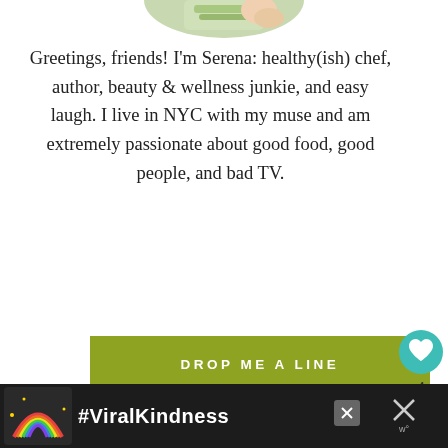[Figure (photo): Partial image of hands holding food/greens at the top of the page]
Greetings, friends! I'm Serena: healthy(ish) chef, author, beauty & wellness junkie, and easy laugh. I live in NYC with my muse and am extremely passionate about good food, good people, and bad TV.
DROP ME A LINE
[Figure (infographic): Teal heart icon button with count of 4 and share icon below]
[Figure (infographic): Decorative triangle pattern band in olive/cream tones]
[Figure (photo): What's Next panel showing food photo thumbnail with label 'WHAT'S NEXT' and text 'Chicken with Sun-Dried...']
Did you try one of my recipes or lifestyle tips?
[Figure (infographic): Advertisement bar with rainbow illustration and #ViralKindness text on dark background]